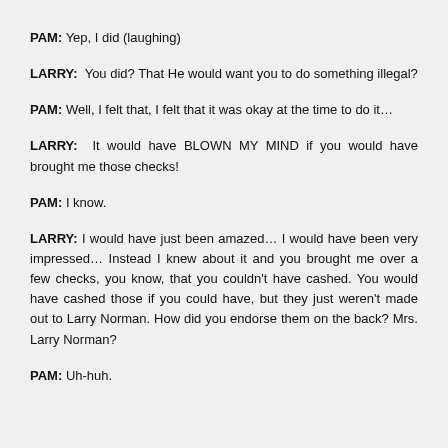PAM: Yep, I did (laughing)
LARRY: You did? That He would want you to do something illegal?
PAM: Well, I felt that, I felt that it was okay at the time to do it…
LARRY: It would have BLOWN MY MIND if you would have brought me those checks!
PAM: I know.
LARRY: I would have just been amazed… I would have been very impressed… Instead I knew about it and you brought me over a few checks, you know, that you couldn't have cashed. You would have cashed those if you could have, but they just weren't made out to Larry Norman. How did you endorse them on the back? Mrs. Larry Norman?
PAM: Uh-huh.